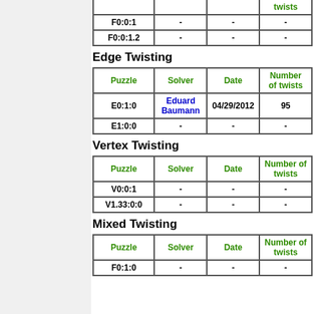| Puzzle | Solver | Date | Number of twists |
| --- | --- | --- | --- |
| F0:0:1 | - | - | - |
| F0:0:1.2 | - | - | - |
Edge Twisting
| Puzzle | Solver | Date | Number of twists |
| --- | --- | --- | --- |
| E0:1:0 | Eduard Baumann | 04/29/2012 | 95 |
| E1:0:0 | - | - | - |
Vertex Twisting
| Puzzle | Solver | Date | Number of twists |
| --- | --- | --- | --- |
| V0:0:1 | - | - | - |
| V1.33:0:0 | - | - | - |
Mixed Twisting
| Puzzle | Solver | Date | Number of twists |
| --- | --- | --- | --- |
| F0:1:0 | - | - | - |